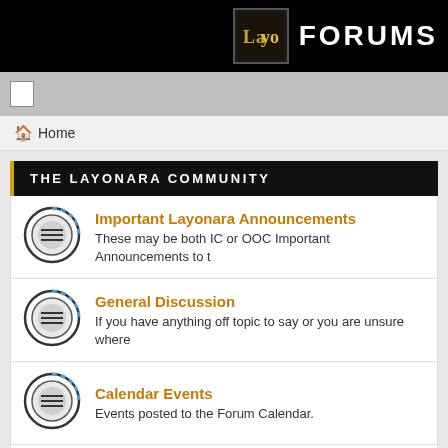FORUMS
THE LAYONARA COMMUNITY
Home
Important Layonara Announcements — These may be both IC or OOC Important Announcements to t
General Discussion — If you have anything off topic to say or you are unsure where
Calendar Events — Events posted to the Forum Calendar.
Just for Fun — A forum section to lighten your day with jokes, funny links, an clean and remember this is a family server.
Introduce Yourself — Take the time to say hello and introduce yourself and ma